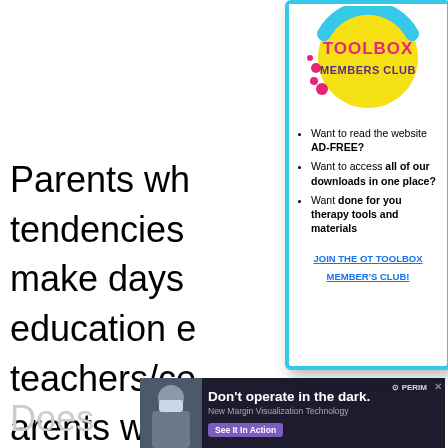Parents wh tendencies make days education e teachers/co arents who
[Figure (logo): OT Toolbox Members Club logo - circular yellow badge with pink and cyan decorative elements, pink text reading TOOLBOX MEMBERS CLUB]
Want to read the website AD-FREE?
Want to access all of our downloads in one place?
Want done for you therapy tools and materials
JOIN THE OT TOOLBOX MEMBER'S CLUB!
Does
[Figure (screenshot): Advertisement banner: Don't operate in the dark. New Margin Visualization Technology. Perimeter logo. See It In Action button. Features surgeon with mask.]